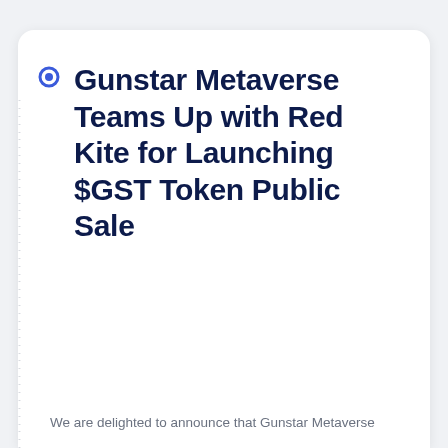Gunstar Metaverse Teams Up with Red Kite for Launching $GST Token Public Sale
We are delighted to announce that Gunstar Metaverse